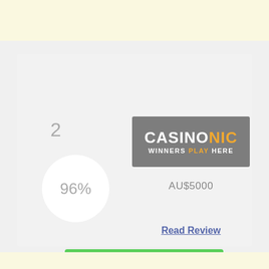[Figure (other): Light yellow banner strip at top of page]
2
[Figure (logo): CasinoNic logo: grey rectangle with white text CASINO and orange text NIC, tagline WINNERS PLAY HERE in white and orange]
AU$5000
[Figure (infographic): White circle badge showing 96%]
Read Review
GET BONUS
[Figure (other): Light yellow banner strip at bottom of page]